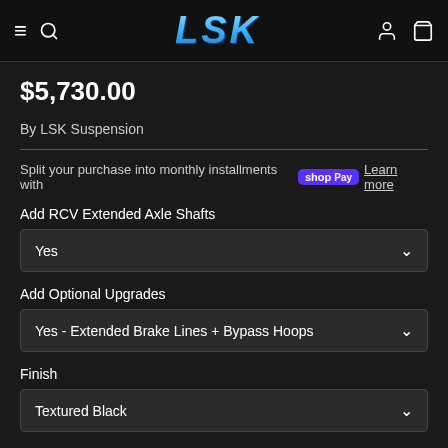LSK — navigation bar with menu, search, account, cart icons
$5,730.00
By LSK Suspension
Split your purchase into monthly installments with shop Pay Learn more
Add RCV Extended Axle Shafts
Yes
Add Optional Upgrades
Yes - Extended Brake Lines + Bypass Hoops
Finish
Textured Black